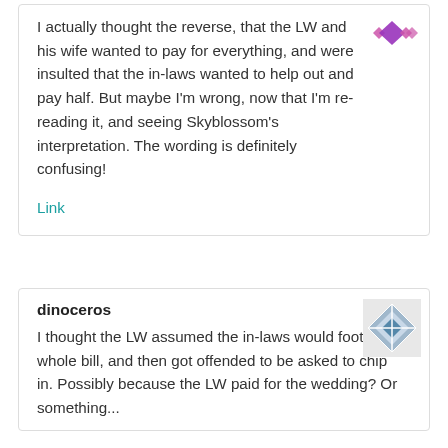I actually thought the reverse, that the LW and his wife wanted to pay for everything, and were insulted that the in-laws wanted to help out and pay half. But maybe I'm wrong, now that I'm re-reading it, and seeing Skyblossom's interpretation. The wording is definitely confusing!
Link
dinoceros
I thought the LW assumed the in-laws would foot the whole bill, and then got offended to be asked to chip in. Possibly because the LW paid for the wedding? Or something...